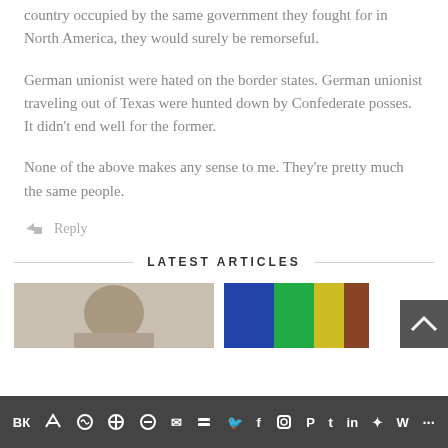country occupied by the same government they fought for in North America, they would surely be remorseful.
German unionist were hated on the border states. German unionist traveling out of Texas were hunted down by Confederate posses. It didn't end well for the former.
None of the above makes any sense to me. They're pretty much the same people.
Reply
LATEST ARTICLES
[Figure (photo): Thumbnail image of a person, sepia/gray tones]
[Figure (photo): Thumbnail image with colorful geometric shapes]
[Figure (screenshot): Social media share bar with icons for VK, Telegram, Reddit, WordPress, WhatsApp, Email, Buffer, Twitter, Facebook, Instagram, Pinterest, Tumblr, LinkedIn, Share, Weebly, and more]